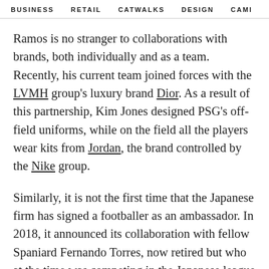BUSINESS   RETAIL   CATWALKS   DESIGN   CAMI  >
Ramos is no stranger to collaborations with brands, both individually and as a team. Recently, his current team joined forces with the LVMH group's luxury brand Dior. As a result of this partnership, Kim Jones designed PSG's off-field uniforms, while on the field all the players wear kits from Jordan, the brand controlled by the Nike group.
Similarly, it is not the first time that the Japanese firm has signed a footballer as an ambassador. In 2018, it announced its collaboration with fellow Spaniard Fernando Torres, now retired but who at the time was competing in the Japanese league with the Sagan Tosu club.